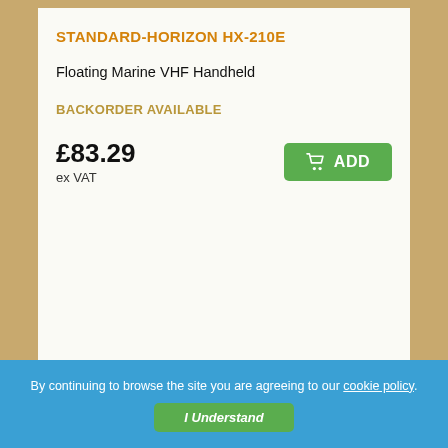STANDARD-HORIZON HX-210E
Floating Marine VHF Handheld
BACKORDER AVAILABLE
£83.29
ex VAT
ADD
By continuing to browse the site you are agreeing to our cookie policy.
I Understand